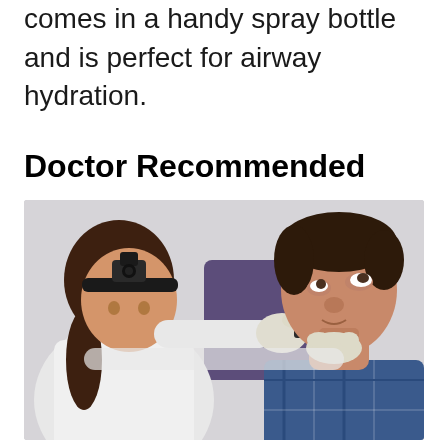comes in a handy spray bottle and is perfect for airway hydration.
Doctor Recommended
[Figure (photo): A female doctor wearing a headlamp and white coat, using a medical instrument to examine the nose of a male patient wearing a blue plaid shirt. The doctor is wearing white gloves and the patient is looking upward.]